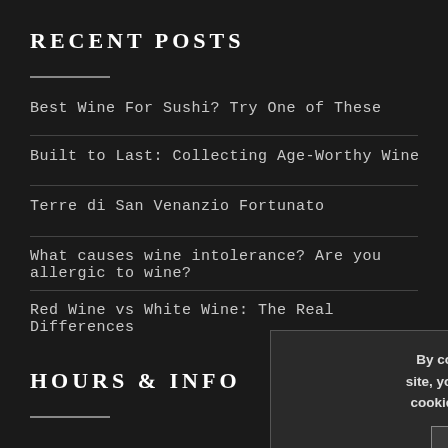RECENT POSTS
Best Wine For Sushi? Try One of These
Built to Last: Collecting Age-Worthy Wine
Terre di San Venanzio Fortunato
What causes wine intolerance? Are you allergic to wine?
Red Wine vs White Wine: The Real Differences
HOURS & INFO
By continuing to use the site, you agree to the use of cookies. more information
ACCEPT